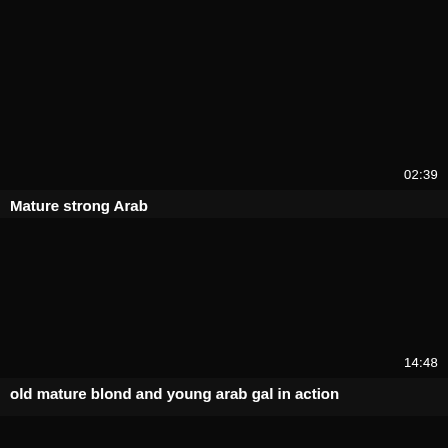[Figure (screenshot): Dark black video thumbnail, first item]
02:39
Mature strong Arab
[Figure (screenshot): Dark black video thumbnail, second item]
14:48
old mature blond and young arab gal in action
[Figure (screenshot): Dark black video thumbnail, third item (partial)]